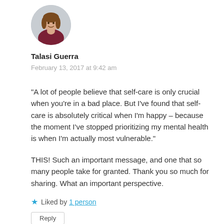[Figure (photo): Circular avatar photo of a woman with brown hair wearing a dark red/maroon top, smiling, with arms crossed, against a light background.]
Talasi Guerra
February 13, 2017 at 9:42 am
"A lot of people believe that self-care is only crucial when you're in a bad place. But I've found that self-care is absolutely critical when I'm happy – because the moment I've stopped prioritizing my mental health is when I'm actually most vulnerable."
THIS! Such an important message, and one that so many people take for granted. Thank you so much for sharing. What an important perspective.
★ Liked by 1 person
Reply